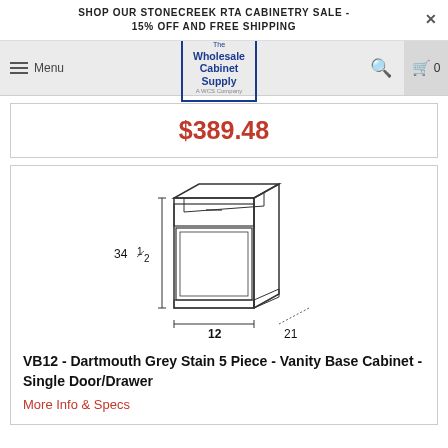SHOP OUR STONECREEK RTA CABINETRY SALE - 15% OFF AND FREE SHIPPING
[Figure (logo): The Wholesale Cabinet Supply logo in blue with border]
$389.48
[Figure (engineering-diagram): Line drawing of a vanity base cabinet with dimensions: 34 1/2 height, 21 depth, 12 width]
VB12 - Dartmouth Grey Stain 5 Piece - Vanity Base Cabinet - Single Door/Drawer
More Info & Specs